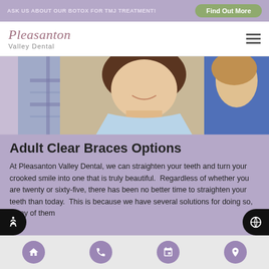ASK US ABOUT OUR BOTOX FOR TMJ TREATMENT!   Find Out More
[Figure (logo): Pleasanton Valley Dental logo with script font]
[Figure (photo): Photo of smiling people, woman in light blue top center, man in plaid shirt left, woman in blue top right]
Adult Clear Braces Options
At Pleasanton Valley Dental, we can straighten your teeth and turn your crooked smile into one that is truly beautiful.  Regardless of whether you are twenty or sixty-five, there has been no better time to straighten your teeth than today.  This is because we have several solutions for doing so, many of them
Home | Phone | Calendar | Location navigation icons